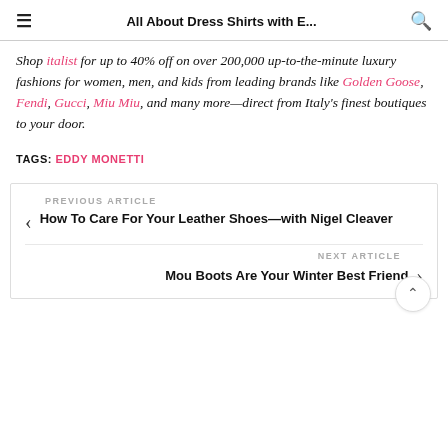All About Dress Shirts with E...
Shop italist for up to 40% off on over 200,000 up-to-the-minute luxury fashions for women, men, and kids from leading brands like Golden Goose, Fendi, Gucci, Miu Miu, and many more—direct from Italy's finest boutiques to your door.
TAGS: EDDY MONETTI
PREVIOUS ARTICLE
How To Care For Your Leather Shoes—with Nigel Cleaver
NEXT ARTICLE
Mou Boots Are Your Winter Best Friend